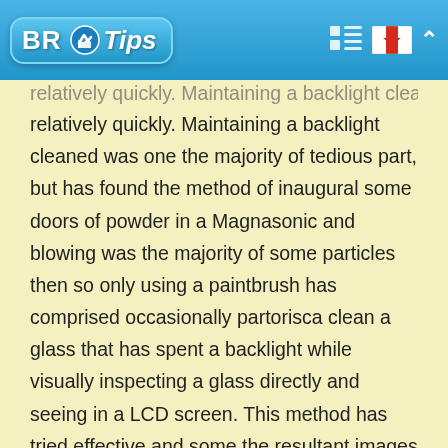BR Tips
relatively quickly. Maintaining a backlight cleaned was one the majority of tedious part, but has found the method of inaugural some doors of powder in a Magnasonic and blowing was the majority of some particles then so only using a paintbrush has comprised occasionally partorisca clean a glass that has spent a backlight while visually inspecting a glass directly and seeing in a LCD screen. This method has tried effective and some the resultant images were fantastic! I have used Picasa editor of photo of Google partorisca fix on first photo to save them and sharing them. Using a ' am feeling lucky' correction of car in